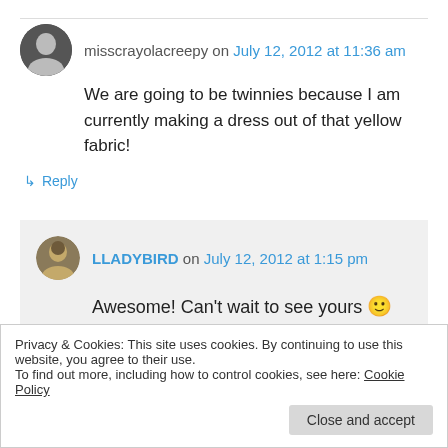misscrayolacreepy on July 12, 2012 at 11:36 am
We are going to be twinnies because I am currently making a dress out of that yellow fabric!
↳ Reply
LLADYBIRD on July 12, 2012 at 1:15 pm
Awesome! Can't wait to see yours 🙂
Privacy & Cookies: This site uses cookies. By continuing to use this website, you agree to their use.
To find out more, including how to control cookies, see here: Cookie Policy
Close and accept